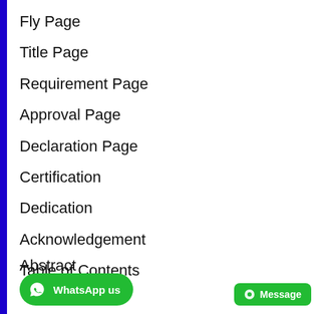Fly Page
Title Page
Requirement Page
Approval Page
Declaration Page
Certification
Dedication
Acknowledgement
Table of Contents
Abstract